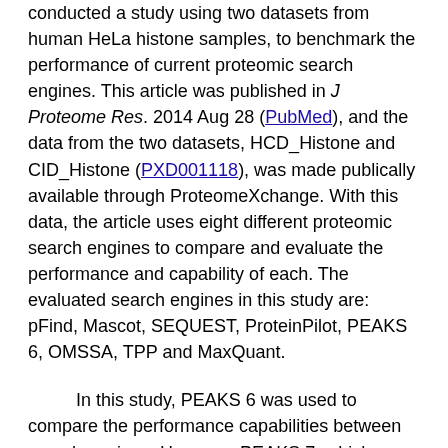conducted a study using two datasets from human HeLa histone samples, to benchmark the performance of current proteomic search engines. This article was published in J Proteome Res. 2014 Aug 28 (PubMed), and the data from the two datasets, HCD_Histone and CID_Histone (PXD001118), was made publically available through ProteomeXchange. With this data, the article uses eight different proteomic search engines to compare and evaluate the performance and capability of each. The evaluated search engines in this study are: pFind, Mascot, SEQUEST, ProteinPilot, PEAKS 6, OMSSA, TPP and MaxQuant.
In this study, PEAKS 6 was used to compare the performance capabilities between search engines. However, PEAKS 7, which was released November 2013, is the latest version available of the PEAKS Studio software. PEAKS 7 not only includes better performance than PEAKS 6, but a lot of additional and improved features. Our team has reanalyzed the two datasets HCD_Histone and CID_Histone with PEAKS 7 to update the ID results presented in the publication by Yuan et al. These updated results showed that instead, it is PEAKS, pFind